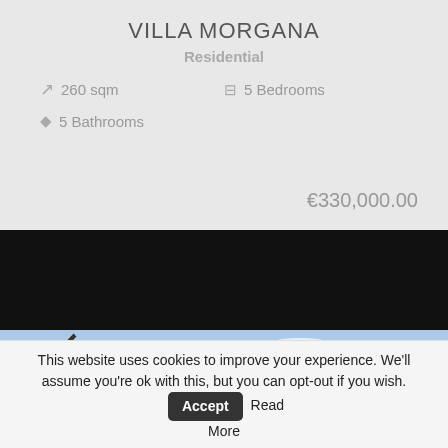VILLA MORGANA
Residential
260 sqm
5 Bedrooms
5 Bathrooms
€330,000.00
[Figure (photo): Black section followed by outdoor photo showing tree branches against a blue sky with clouds]
This website uses cookies to improve your experience. We'll assume you're ok with this, but you can opt-out if you wish. Accept Read More